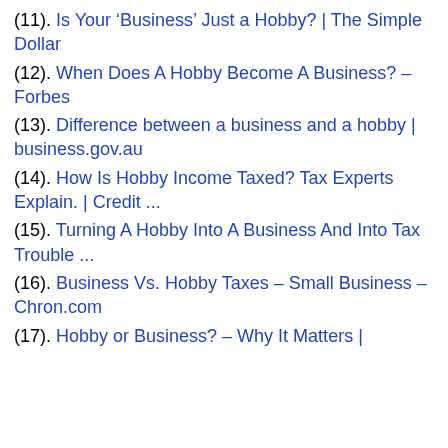(11). Is Your ‘Business’ Just a Hobby? | The Simple Dollar
(12). When Does A Hobby Become A Business? – Forbes
(13). Difference between a business and a hobby | business.gov.au
(14). How Is Hobby Income Taxed? Tax Experts Explain. | Credit ...
(15). Turning A Hobby Into A Business And Into Tax Trouble ...
(16). Business Vs. Hobby Taxes – Small Business – Chron.com
(17). Hobby or Business? – Why It Matters |